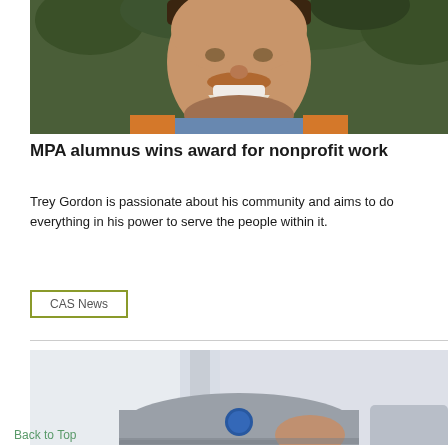[Figure (photo): Close-up portrait of a smiling young man with light beard, wearing a blue plaid shirt and orange jacket, with green foliage in background.]
MPA alumnus wins award for nonprofit work
Trey Gordon is passionate about his community and aims to do everything in his power to serve the people within it.
CAS News
[Figure (photo): Partially visible person wearing a grey baseball cap with a blue logo, photographed from below against a light background.]
Back to Top